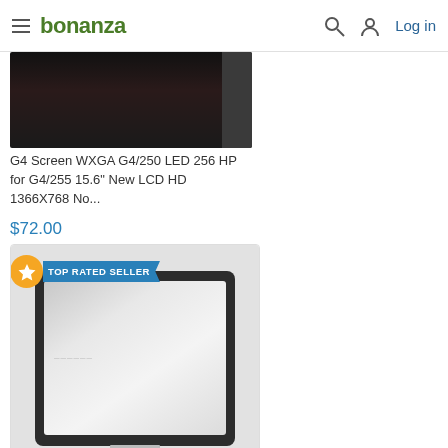bonanza — Log in
[Figure (photo): Partial view of a laptop LCD screen product image (dark frame) from a prior listing]
G4 Screen WXGA G4/250 LED 256 HP for G4/255 15.6" New LCD HD 1366X768 No...
$72.00
[Figure (photo): LCD touch screen panel for HP Pavilion, shown as a bare panel with black bezel frame on a light gray background, with TOP RATED SELLER badge]
Lcd Touch Screen For Hp Pavilion 15-Cs 15T-Cs 15.6" Fhd 40 Pin - L25333-